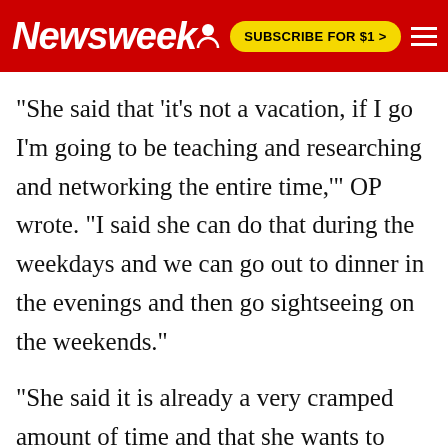Newsweek | SUBSCRIBE FOR $1 >
"She said that 'it's not a vacation, if I go I'm going to be teaching and researching and networking the entire time,'" OP wrote. "I said she can do that during the weekdays and we can go out to dinner in the evenings and then go sightseeing on the weekends."
"She said it is already a very cramped amount of time and that she wants to spend her free time networking with other 'academics' there," OP continued.